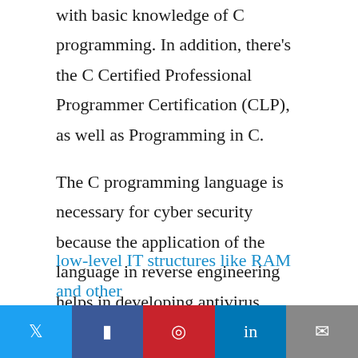with basic knowledge of C programming. In addition, there's the C Certified Professional Programmer Certification (CLP), as well as Programming in C.
The C programming language is necessary for cyber security because the application of the language in reverse engineering helps in developing antivirus processes. C is also needed to develop QA code integrity. Overall, C is an essential low-level programming language that is needed by cyber security experts. This is because the language enables users' access to low-level IT structures like RAM and other custom processes, which need to be controlled
Social share bar with Twitter, Facebook, Pinterest, LinkedIn, Email buttons